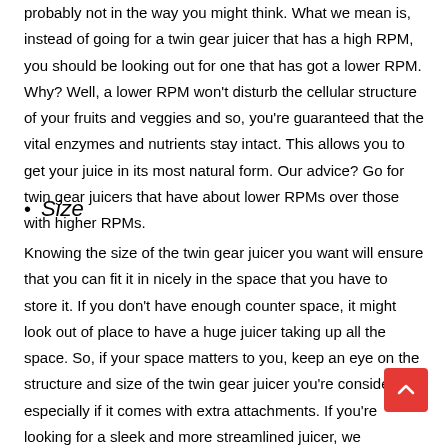probably not in the way you might think. What we mean is, instead of going for a twin gear juicer that has a high RPM, you should be looking out for one that has got a lower RPM. Why? Well, a lower RPM won't disturb the cellular structure of your fruits and veggies and so, you're guaranteed that the vital enzymes and nutrients stay intact. This allows you to get your juice in its most natural form. Our advice? Go for twin gear juicers that have about lower RPMs over those with higher RPMs.
Size
Knowing the size of the twin gear juicer you want will ensure that you can fit it in nicely in the space that you have to store it. If you don't have enough counter space, it might look out of place to have a huge juicer taking up all the space. So, if your space matters to you, keep an eye on the structure and size of the twin gear juicer you're considering especially if it comes with extra attachments. If you're looking for a sleek and more streamlined juicer, we recommend the Tribest GSE-5010 Greenstar Elite that we've